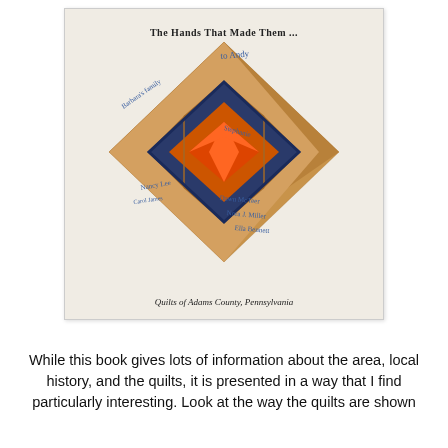[Figure (photo): A photograph of a signed book cover titled 'The Hands That Made Them...' showing a quilt pattern in a diamond/star design with orange and navy blue colors. The cover also reads 'Quilts of Adams County, Pennsylvania' at the bottom. There are handwritten signatures and inscriptions in blue ink across the cover.]
While this book gives lots of information about the area, local history, and the quilts, it is presented in a way that I find particularly interesting. Look at the way the quilts are shown